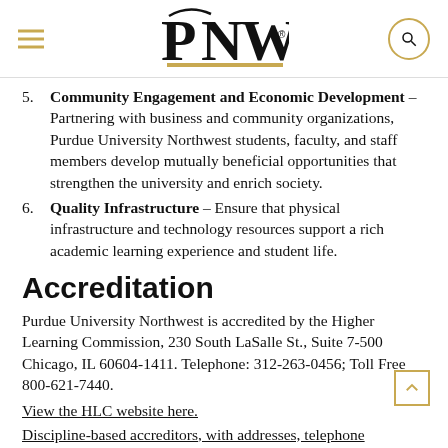PNW (Purdue University Northwest logo with navigation)
5. Community Engagement and Economic Development – Partnering with business and community organizations, Purdue University Northwest students, faculty, and staff members develop mutually beneficial opportunities that strengthen the university and enrich society.
6. Quality Infrastructure – Ensure that physical infrastructure and technology resources support a rich academic learning experience and student life.
Accreditation
Purdue University Northwest is accredited by the Higher Learning Commission, 230 South LaSalle St., Suite 7-500 Chicago, IL 60604-1411. Telephone: 312-263-0456; Toll Free 800-621-7440.
View the HLC website here.
Discipline-based accreditors, with addresses, telephone